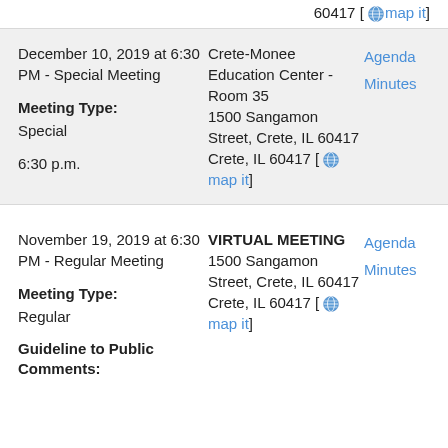60417 [map it]
December 10, 2019 at 6:30 PM - Special Meeting
Meeting Type: Special
6:30 p.m.
Crete-Monee Education Center - Room 35
1500 Sangamon Street, Crete, IL 60417
Crete, IL 60417 [map it]
Agenda
Minutes
November 19, 2019 at 6:30 PM - Regular Meeting
Meeting Type: Regular
Guideline to Public Comments:
VIRTUAL MEETING
1500 Sangamon Street, Crete, IL 60417
Crete, IL 60417 [map it]
Agenda
Minutes